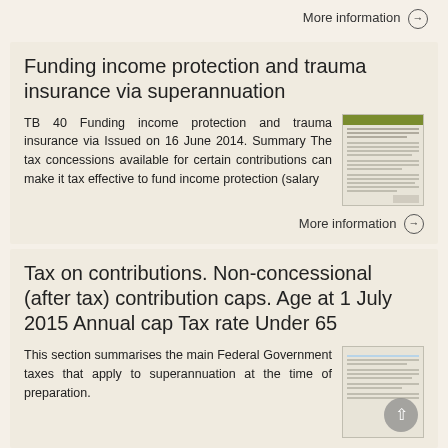More information →
Funding income protection and trauma insurance via superannuation
TB 40 Funding income protection and trauma insurance via Issued on 16 June 2014. Summary The tax concessions available for certain contributions can make it tax effective to fund income protection (salary
[Figure (photo): Thumbnail image of a document page with green header bar]
More information →
Tax on contributions. Non-concessional (after tax) contribution caps. Age at 1 July 2015 Annual cap Tax rate Under 65
This section summarises the main Federal Government taxes that apply to superannuation at the time of preparation.
[Figure (photo): Thumbnail image of a document page with blue accent and circular back-to-top button]